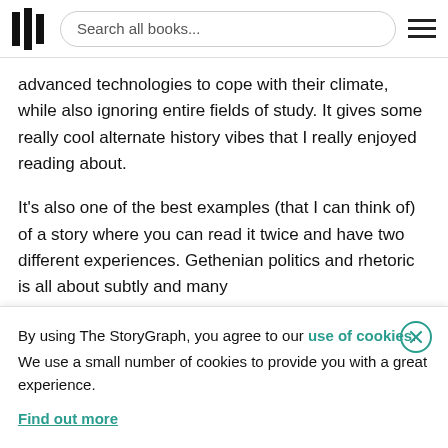Search all books...
advanced technologies to cope with their climate, while also ignoring entire fields of study. It gives some really cool alternate history vibes that I really enjoyed reading about.
It's also one of the best examples (that I can think of) of a story where you can read it twice and have two different experiences. Gethenian politics and rhetoric is all about subtly and many
By using The StoryGraph, you agree to our use of cookies.
We use a small number of cookies to provide you with a great experience.
Find out more